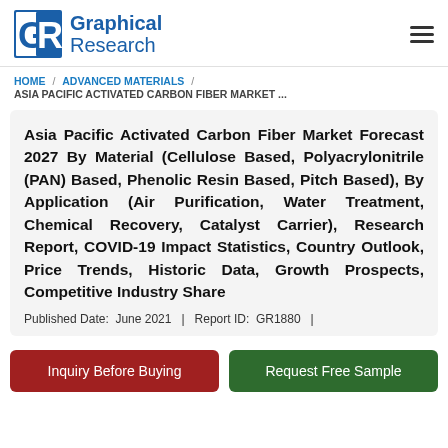Graphical Research
HOME / ADVANCED MATERIALS / ASIA PACIFIC ACTIVATED CARBON FIBER MARKET ...
Asia Pacific Activated Carbon Fiber Market Forecast 2027 By Material (Cellulose Based, Polyacrylonitrile (PAN) Based, Phenolic Resin Based, Pitch Based), By Application (Air Purification, Water Treatment, Chemical Recovery, Catalyst Carrier), Research Report, COVID-19 Impact Statistics, Country Outlook, Price Trends, Historic Data, Growth Prospects, Competitive Industry Share
Published Date:  June 2021  |  Report ID:  GR1880  |
Inquiry Before Buying
Request Free Sample